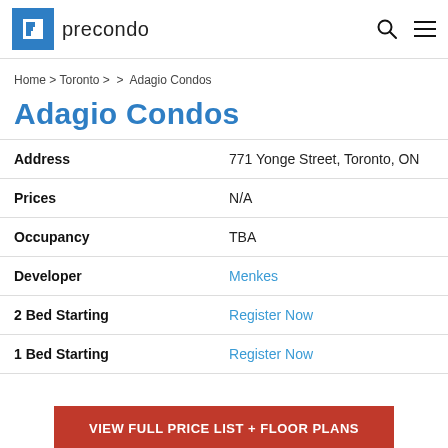precondo
Home > Toronto > > Adagio Condos
Adagio Condos
| Field | Value |
| --- | --- |
| Address | 771 Yonge Street, Toronto, ON |
| Prices | N/A |
| Occupancy | TBA |
| Developer | Menkes |
| 2 Bed Starting | Register Now |
| 1 Bed Starting | Register Now |
VIEW FULL PRICE LIST + FLOOR PLANS